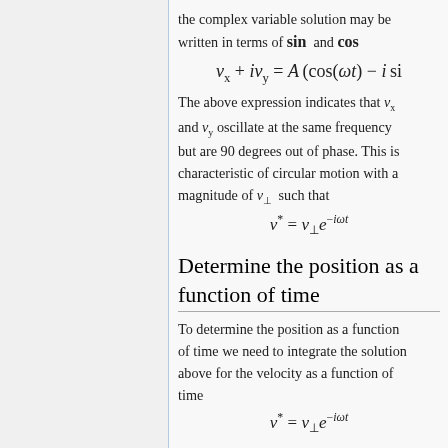the complex variable solution may be written in terms of sin and cos
The above expression indicates that v_x and v_y oscillate at the same frequency but are 90 degrees out of phase. This is characteristic of circular motion with a magnitude of v_⊥ such that
Determine the position as a function of time
To determine the position as a function of time we need to integrate the solution above for the velocity as a function of time